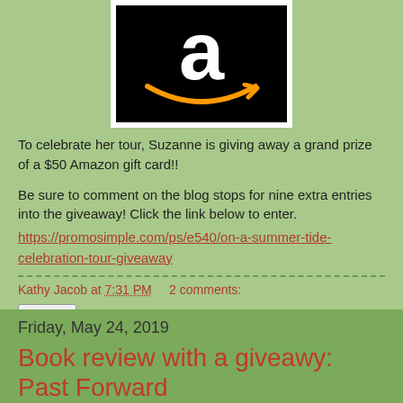[Figure (logo): Amazon logo: black background with white lowercase 'a' and orange smile/arrow]
To celebrate her tour, Suzanne is giving away a grand prize of a $50 Amazon gift card!!
Be sure to comment on the blog stops for nine extra entries into the giveaway! Click the link below to enter.
https://promosimple.com/ps/e540/on-a-summer-tide-celebration-tour-giveaway
Kathy Jacob at 7:31 PM    2 comments:
Share
Friday, May 24, 2019
Book review with a giveawy: Past Forward